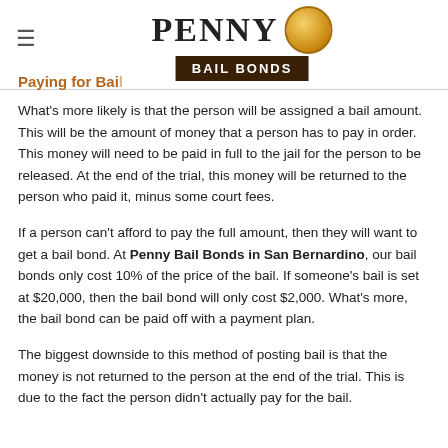Penny Bail Bonds
Paying for Bail
What's more likely is that the person will be assigned a bail amount. This will be the amount of money that a person has to pay in order. This money will need to be paid in full to the jail for the person to be released. At the end of the trial, this money will be returned to the person who paid it, minus some court fees.
If a person can't afford to pay the full amount, then they will want to get a bail bond. At Penny Bail Bonds in San Bernardino, our bail bonds only cost 10% of the price of the bail. If someone's bail is set at $20,000, then the bail bond will only cost $2,000. What's more, the bail bond can be paid off with a payment plan.
The biggest downside to this method of posting bail is that the money is not returned to the person at the end of the trial. This is due to the fact the person didn't actually pay for the bail.